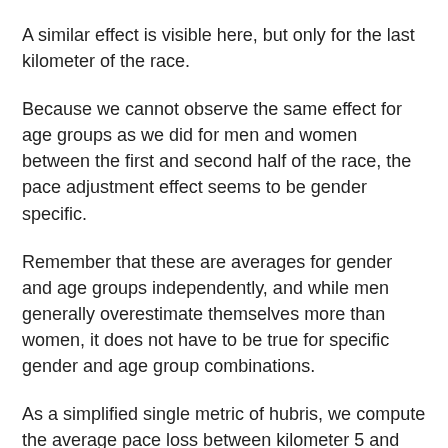A similar effect is visible here, but only for the last kilometer of the race.
Because we cannot observe the same effect for age groups as we did for men and women between the first and second half of the race, the pace adjustment effect seems to be gender specific.
Remember that these are averages for gender and age groups independently, and while men generally overestimate themselves more than women, it does not have to be true for specific gender and age group combinations.
As a simplified single metric of hubris, we compute the average pace loss between kilometer 5 and 20, relative to the first 5 kilometers.